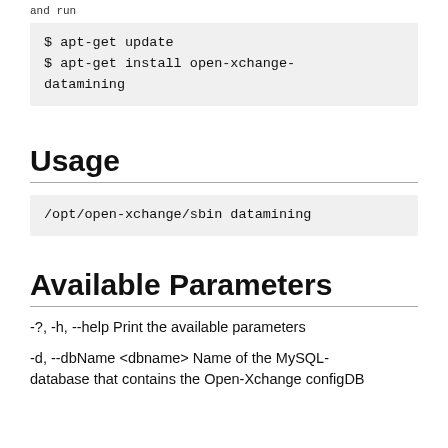and run
$ apt-get update
$ apt-get install open-xchange-datamining
Usage
/opt/open-xchange/sbin datamining
Available Parameters
-?, -h, --help Print the available parameters
-d, --dbName <dbname> Name of the MySQL-database that contains the Open-Xchange configDB